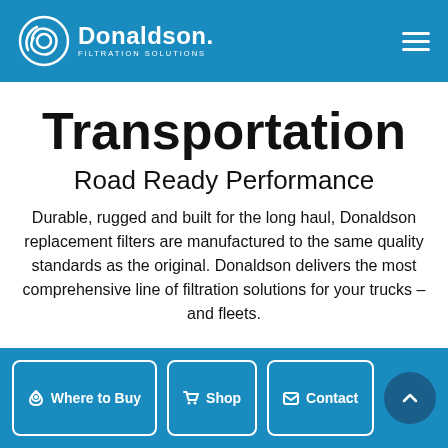Donaldson Filtration Solutions
Transportation
Road Ready Performance
Durable, rugged and built for the long haul, Donaldson replacement filters are manufactured to the same quality standards as the original. Donaldson delivers the most comprehensive line of filtration solutions for your trucks – and fleets.
Where to Buy | Shop | Contact